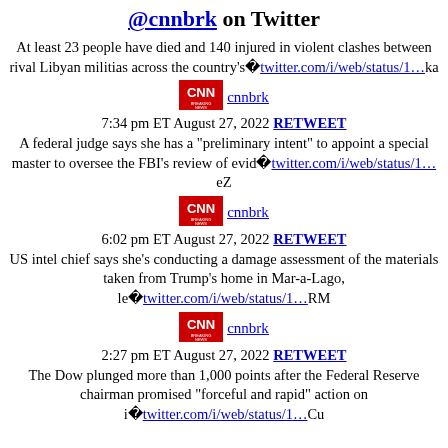@cnnbrk on Twitter
At least 23 people have died and 140 injured in violent clashes between rival Libyan militias across the country's�twitter.com/i/web/status/1…ka
[Figure (logo): CNN Breaking News logo]
cnnbrk
7:34 pm ET August 27, 2022 RETWEET
A federal judge says she has a "preliminary intent" to appoint a special master to oversee the FBI's review of evid�twitter.com/i/web/status/1…eZ
[Figure (logo): CNN Breaking News logo]
cnnbrk
6:02 pm ET August 27, 2022 RETWEET
US intel chief says she's conducting a damage assessment of the materials taken from Trump's home in Mar-a-Lago, le�twitter.com/i/web/status/1…RM
[Figure (logo): CNN Breaking News logo]
cnnbrk
2:27 pm ET August 27, 2022 RETWEET
The Dow plunged more than 1,000 points after the Federal Reserve chairman promised "forceful and rapid" action on i�twitter.com/i/web/status/1…Cu